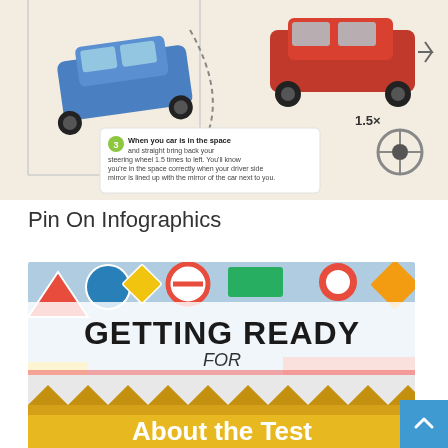[Figure (illustration): Partial parking infographic showing two cars in a parking space scene with a step 3 instruction bubble: 'When your car is in the space and straight bring back your steering wheel 1.5 times to left. You'll know you're in the space correctly when your driver side mirror is lined up with the mirror of the car next to you.' A steering wheel icon with 1.5x label is shown to the right.]
Pin On Infographics
[Figure (infographic): Infographic banner with UK road signs in the background. Text reads 'GETTING READY FOR UK DRIVING THEORY TEST'. The words 'UK DRIVING THEORY TEST' appear on a salmon/coral colored banner.]
[Figure (infographic): Partial bottom infographic showing a gold/yellow banner with text 'About the Test' partially visible.]